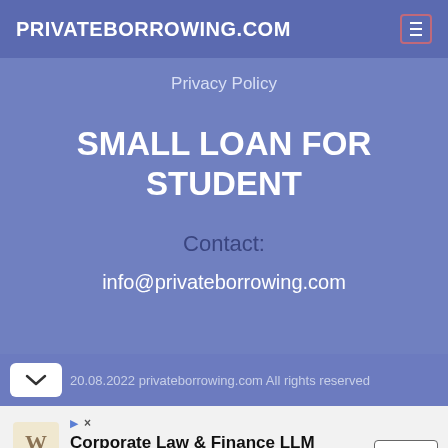PRIVATEBORROWING.COM
Privacy Policy
SMALL LOAN FOR STUDENT
Contact:
info@privateborrowing.com
20.08.2022 privateborrowing.com All rights reserved
[Figure (screenshot): Advertisement banner for Corporate Law & Finance LLM by Cooley Law School with Open button]